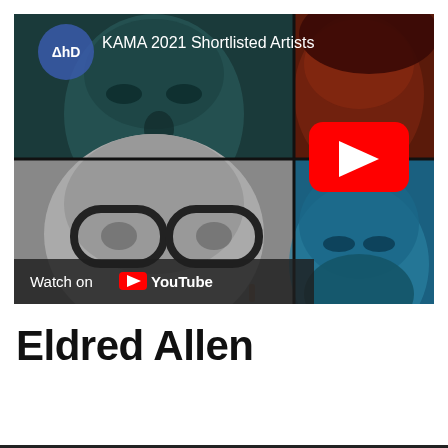[Figure (screenshot): YouTube video thumbnail showing KAMA 2021 Shortlisted Artists, a 2x2 grid of artist portraits with various color tints (teal/dark, red/brown, black/white, cyan/blue), YouTube play button in center, AHD logo and title in top-left, 'Watch on YouTube' bar at bottom-left.]
Eldred Allen